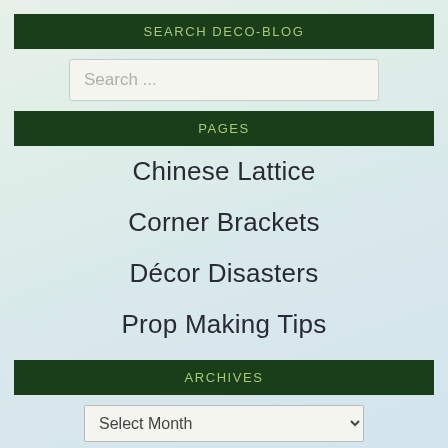SEARCH DECO-BLOG
Search ...
PAGES
Chinese Lattice
Corner Brackets
Décor Disasters
Prop Making Tips
ARCHIVES
Select Month